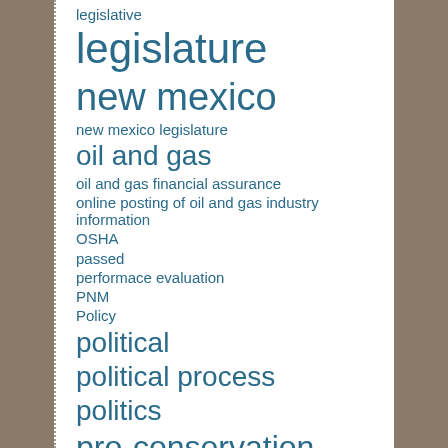legislative
legislature
new mexico
new mexico legislature
oil and gas
oil and gas financial assurance
online posting of oil and gas industry information
OSHA
passed
performace evaluation
PNM
Policy
political
political process
politics
pro-conservation
procurement limits
public meeting
public meeting agenda
reasonable cost threshold
reduced health care costs